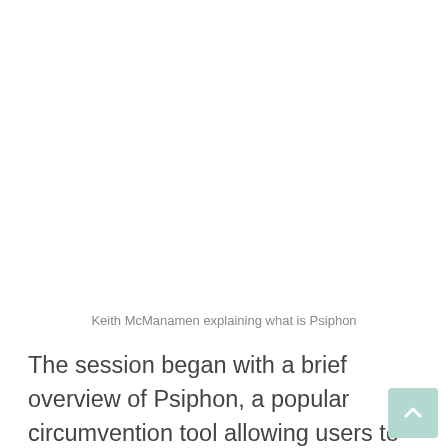[Figure (photo): Blank/white image area where a photo of Keith McManamen explaining what is Psiphon would appear]
Keith McManamen explaining what is Psiphon
The session began with a brief overview of Psiphon, a popular circumvention tool allowing users to bypass online censorship. It is a free,